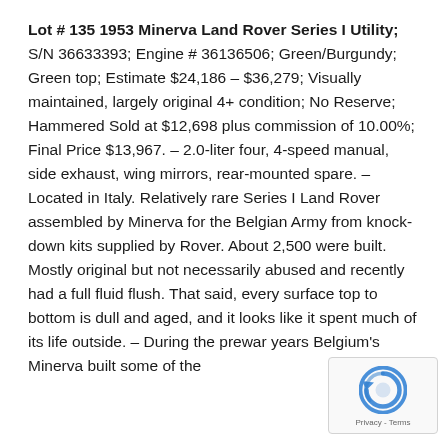Lot # 135 1953 Minerva Land Rover Series I Utility; S/N 36633393; Engine # 36136506; Green/Burgundy; Green top; Estimate $24,186 – $36,279; Visually maintained, largely original 4+ condition; No Reserve; Hammered Sold at $12,698 plus commission of 10.00%; Final Price $13,967. – 2.0-liter four, 4-speed manual, side exhaust, wing mirrors, rear-mounted spare. – Located in Italy. Relatively rare Series I Land Rover assembled by Minerva for the Belgian Army from knock-down kits supplied by Rover. About 2,500 were built. Mostly original but not necessarily abused and recently had a full fluid flush. That said, every surface top to bottom is dull and aged, and it looks like it spent much of its life outside. – During the prewar years Belgium's Minerva built some of the
[Figure (logo): reCAPTCHA badge with spinning arrow logo and Privacy - Terms text]